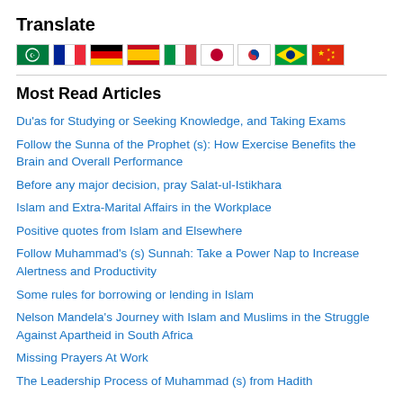Translate
[Figure (illustration): Row of country flags: Arabic/Islamic, French, German, Spanish, Italian, Japanese, Korean, Brazilian, Chinese]
Most Read Articles
Du'as for Studying or Seeking Knowledge, and Taking Exams
Follow the Sunna of the Prophet (s): How Exercise Benefits the Brain and Overall Performance
Before any major decision, pray Salat-ul-Istikhara
Islam and Extra-Marital Affairs in the Workplace
Positive quotes from Islam and Elsewhere
Follow Muhammad's (s) Sunnah: Take a Power Nap to Increase Alertness and Productivity
Some rules for borrowing or lending in Islam
Nelson Mandela's Journey with Islam and Muslims in the Struggle Against Apartheid in South Africa
Missing Prayers At Work
The Leadership Process of Muhammad (s) from Hadith